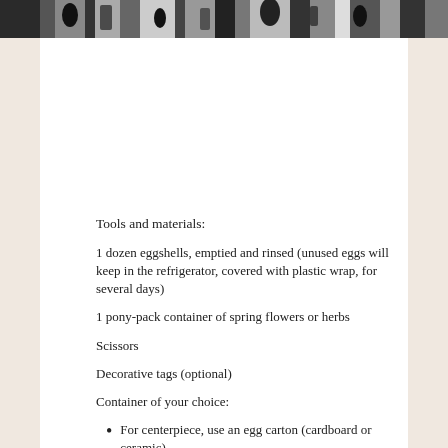[Figure (photo): Black and white photo strip at top of page showing various images]
[Figure (logo): V logo with wavy lines beneath, in decorative style]
[Figure (photo): Photo of eggs in a carton (blue/green and white eggs) with green scissors, twine on a brown surface]
Tools and materials:
1 dozen eggshells, emptied and rinsed (unused eggs will keep in the refrigerator, covered with plastic wrap, for several days)
1 pony-pack container of spring flowers or herbs
Scissors
Decorative tags (optional)
Container of your choice:
For centerpiece, use an egg carton (cardboard or ceramic)